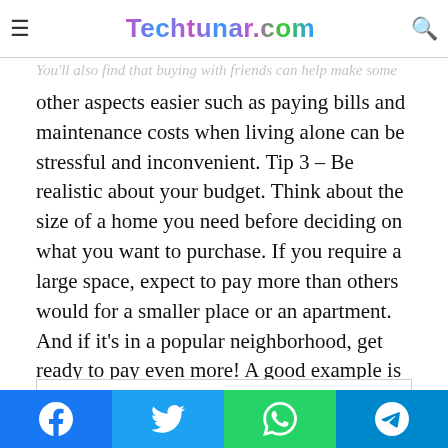Techtunar.com
purchase or take on a larger mortgage of up to 35 years of a. You'll also find that buying with friends can help make some other aspects easier such as paying bills and maintenance costs when living alone can be stressful and inconvenient. Tip 3 – Be realistic about your budget. Think about the size of a home you need before deciding on what you want to purchase. If you require a large space, expect to pay more than others would for a smaller place or an apartment. And if it's in a popular neighborhood, get ready to pay even more! A good example is New York City where apartments and homes are trendy nowadays.
So there you have it, three tips for buying a house. If you have any more tips to add, feel free to share them in the comments section below.